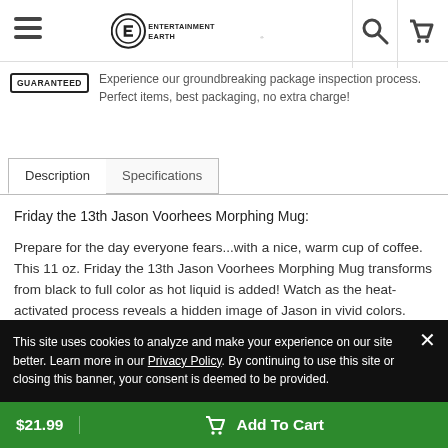Entertainment Earth navigation bar with hamburger menu, logo, search and cart icons
Experience our groundbreaking package inspection process. Perfect items, best packaging, no extra charge!
Description	Specifications
Friday the 13th Jason Voorhees Morphing Mug:
Prepare for the day everyone fears...with a nice, warm cup of coffee. This 11 oz. Friday the 13th Jason Voorhees Morphing Mug transforms from black to full color as hot liquid is added! Watch as the heat-activated process reveals a hidden image of Jason in vivid colors.
This site uses cookies to analyze and make your experience on our site better. Learn more in our Privacy Policy. By continuing to use this site or closing this banner, your consent is deemed to be provided.
$21.99   Add To Cart